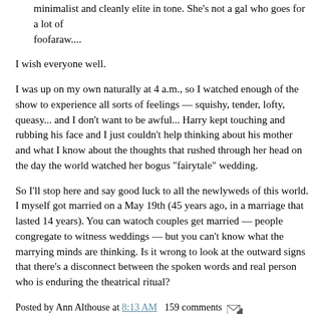minimalist and cleanly elite in tone. She's not a gal who goes for a lot of foofaraw....
I wish everyone well.
I was up on my own naturally at 4 a.m., so I watched enough of the show to experience all sorts of feelings — squishy, tender, lofty, queasy... and I don't want to be awful... but Harry kept touching and rubbing his face and I just couldn't help thinking about his mother and what I know about the thoughts that rushed through her head on the day the world watched her bogus "fairytale" wedding.
So I'll stop here and say good luck to all the newlyweds of this world. I myself got married on a May 19th (45 years ago, in a marriage that lasted 14 years). You can watch couples get married — people congregate to witness weddings — but you can't know what the marrying minds are thinking. Is it wrong to look at the outward signs that there's a disconnect between the spoken words and real person who is enduring the theatrical ritual?
Posted by Ann Althouse at 8:13 AM  159 comments
Tags: gestures, marriage, Meghan Markle, Prince Harry, Princess Diana, Lorenzo, weddings